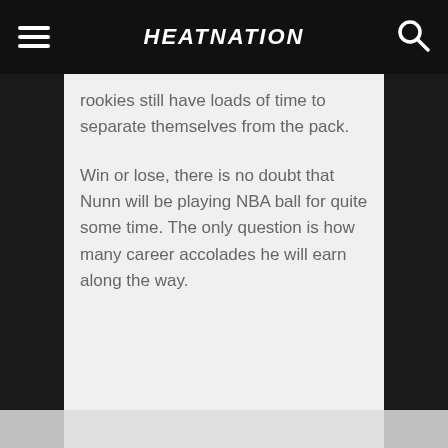HEATNATION
rookies still have loads of time to separate themselves from the pack.
Win or lose, there is no doubt that Nunn will be playing NBA ball for quite some time. The only question is how many career accolades he will earn along the way.